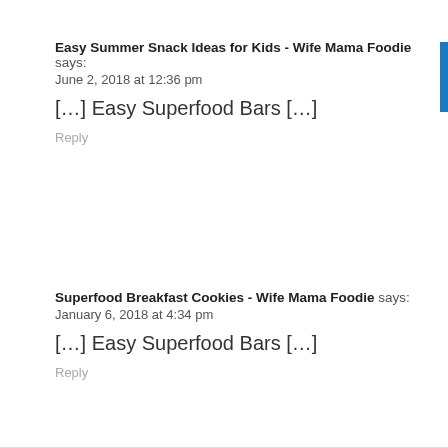Easy Summer Snack Ideas for Kids - Wife Mama Foodie says:
June 2, 2018 at 12:36 pm
[...] Easy Superfood Bars [...]
Reply
Superfood Breakfast Cookies - Wife Mama Foodie says:
January 6, 2018 at 4:34 pm
[...] Easy Superfood Bars [...]
Reply